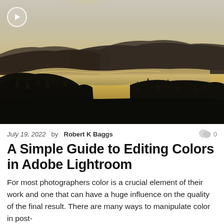[Figure (photo): Aerial landscape photograph showing a winding lake or river valley between dark silhouetted hills and forested slopes, with a warm golden-yellow hazy sky and misty atmosphere. A video play button icon is overlaid in the top-left corner.]
July 19, 2022  by Robert K Baggs   0
A Simple Guide to Editing Colors in Adobe Lightroom
For most photographers color is a crucial element of their work and one that can have a huge influence on the quality of the final result. There are many ways to manipulate color in post-